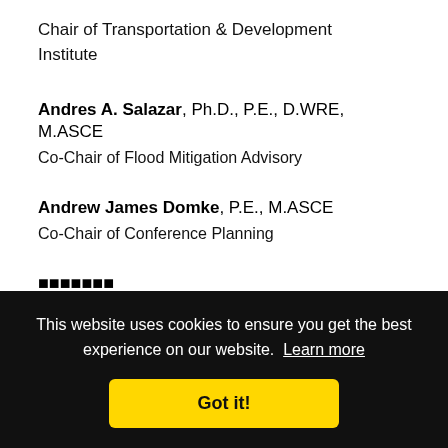Chair of Transportation & Development Institute
Andres A. Salazar, Ph.D., P.E., D.WRE, M.ASCE
Co-Chair of Flood Mitigation Advisory
Andrew James Domke, P.E., M.ASCE
Co-Chair of Conference Planning
This website uses cookies to ensure you get the best experience on our website. Learn more
Got it!